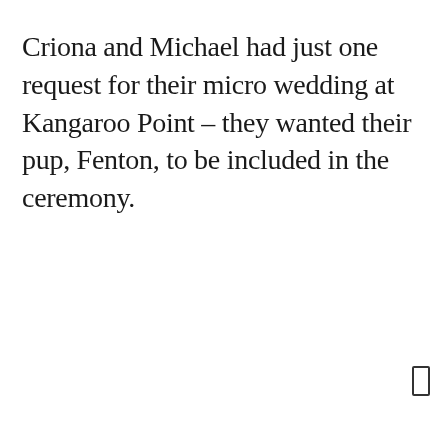Criona and Michael had just one request for their micro wedding at Kangaroo Point – they wanted their pup, Fenton, to be included in the ceremony.